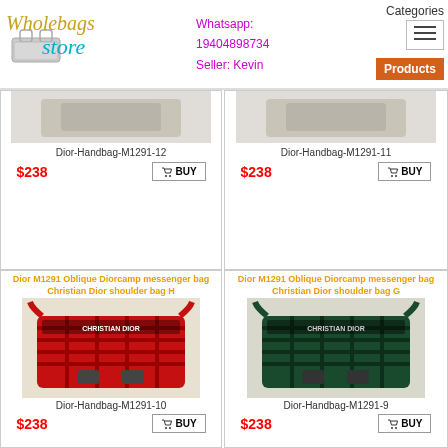WholeBags Store | Whatsapp: 19404898734 | Seller: Kevin | Categories | Products
[Figure (photo): Partial cropped product image of Dior handbag M1291-12]
Dior-Handbag-M1291-12
$238  BUY
[Figure (photo): Partial cropped product image of Dior handbag M1291-11]
Dior-Handbag-M1291-11
$238  BUY
Dior M1291 Oblique Diorcamp messenger bag Christian Dior shoulder bag H
[Figure (photo): Product photo of red plaid Dior M1291 messenger bag labeled CHRISTIAN DIOR]
Dior-Handbag-M1291-10
$238  BUY
Dior M1291 Oblique Diorcamp messenger bag Christian Dior shoulder bag G
[Figure (photo): Product photo of dark green Dior M1291 messenger bag labeled CHRISTIAN DIOR]
Dior-Handbag-M1291-9
$238  BUY